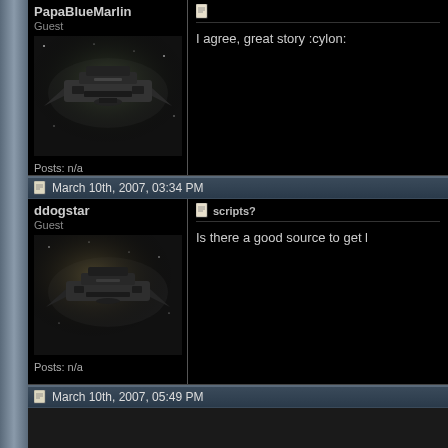PapaBlueMarlin
Guest
Posts: n/a
[Figure (photo): Avatar image of a dark sci-fi spaceship in space, used for user PapaBlueMarlin]
I agree, great story :cylon:
March 10th, 2007, 03:34 PM
ddogstar
Guest
Posts: n/a
[Figure (photo): Avatar image of a dark sci-fi spaceship in space, used for user ddogstar]
scripts?
Is there a good source to get l
March 10th, 2007, 05:49 PM